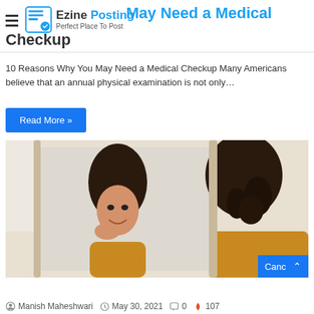Ezine Posting — Perfect Place To Post
10 Reasons Why You May Need a Medical Checkup
10 Reasons Why You May Need a Medical Checkup Many Americans believe that an annual physical examination is not only…
Read More »
[Figure (photo): Woman smiling at her reflection in a large ornate mirror, wearing a mustard/orange top]
Cancel
Manish Maheshwari   May 30, 2021   0   107